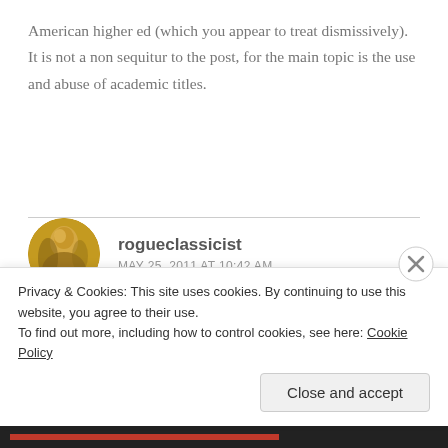American higher ed (which you appear to treat dismissively). It is not a non sequitur to the post, for the main topic is the use and abuse of academic titles.
rogueclassicist
MAY 25, 2011 AT 10:42 AM
[Figure (photo): Circular avatar photo of user rogueclassicist showing a classical-style painting or artwork figure]
Fine … what do you want me to do about this? I've apologized. I've editorialized.
Privacy & Cookies: This site uses cookies. By continuing to use this website, you agree to their use.
To find out more, including how to control cookies, see here: Cookie Policy
Close and accept